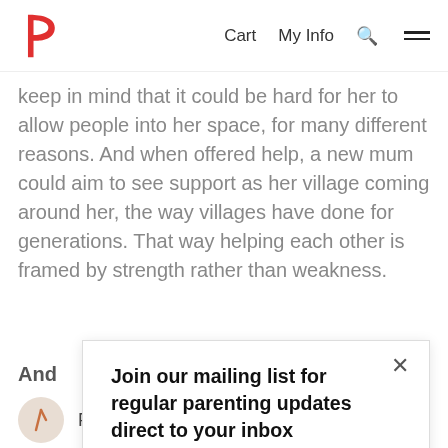Cart  My Info  [search icon]  [menu icon]
keep in mind that it could be hard for her to allow people into her space, for many different reasons. And when offered help, a new mum could aim to see support as her village coming around her, the way villages have done for generations. That way helping each other is framed by strength rather than weakness.
And
mu
[Figure (screenshot): Popup modal with title 'Join our mailing list for regular parenting updates direct to your inbox', a close (X) button, and a 'Sign up' link.]
Prioritise self-care